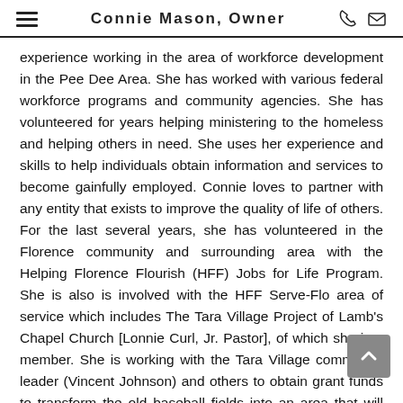Connie Mason, Owner
experience working in the area of workforce development in the Pee Dee Area. She has worked with various federal workforce programs and community agencies. She has volunteered for years helping ministering to the homeless and helping others in need. She uses her experience and skills to help individuals obtain information and services to become gainfully employed. Connie loves to partner with any entity that exists to improve the quality of life of others. For the last several years, she has volunteered in the Florence community and surrounding area with the Helping Florence Flourish (HFF) Jobs for Life Program. She is also is involved with the HFF Serve-Flo area of service which includes The Tara Village Project of Lamb's Chapel Church [Lonnie Curl, Jr. Pastor], of which she is a member. She is working with the Tara Village community leader (Vincent Johnson) and others to obtain grant funds to transform the old baseball fields into an area that will provide much needed community activities and services. His vision is to bring community services to the Tara Village community and to help youth by providing mentoring, financial literacy, helping them to